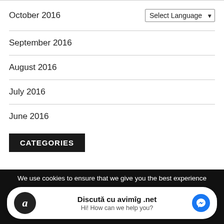October 2016
September 2016
August 2016
July 2016
June 2016
CATEGORIES
We use cookies to ensure that we give you the best experience
Discută cu avimîg .net
Hi! How can we help you?